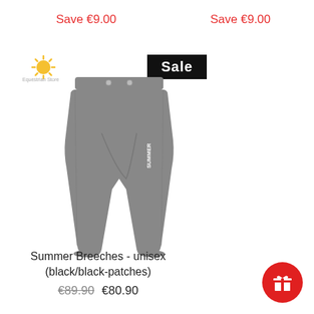Save €9.00
Save €9.00
[Figure (logo): Sun logo with text, yellow sun rays icon]
Sale
[Figure (photo): Gray summer breeches/riding pants, unisex, displayed on white background]
Summer Breeches - unisex (black/black-patches)
€89.90 €80.90